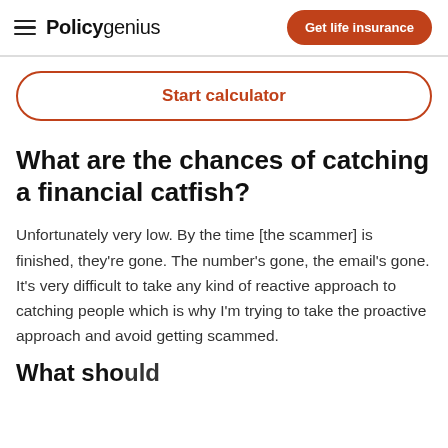Policygenius | Get life insurance
Start calculator
What are the chances of catching a financial catfish?
Unfortunately very low. By the time [the scammer] is finished, they're gone. The number's gone, the email's gone. It's very difficult to take any kind of reactive approach to catching people which is why I'm trying to take the proactive approach and avoid getting scammed.
What should you do to protect...